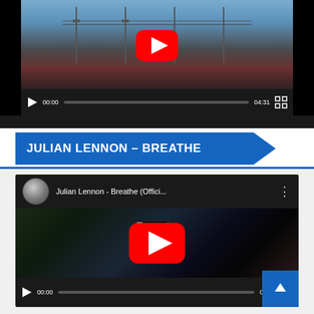[Figure (screenshot): YouTube video player showing a music video thumbnail with play controls, timestamp 00:00 and duration 04:31]
JULIAN LENNON – BREATHE
[Figure (screenshot): YouTube video player for Julian Lennon - Breathe (Offici...) showing thumbnail with Breathe text overlay, YouTube play button, and video controls with timestamp 00:00 and duration 04:48]